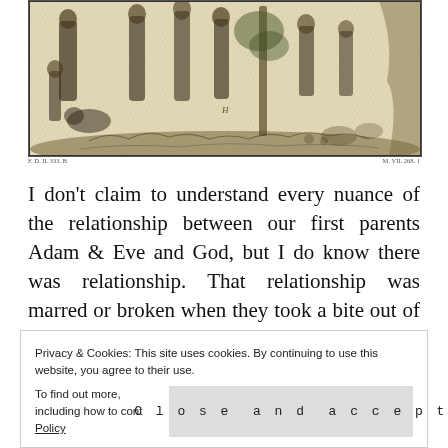[Figure (illustration): A black and white engraving depicting multiple figures (Adam and Eve scene) with animals and foliage in a classical woodcut/engraving style. Small caption text below left reads 'F. D. II. 333. B' and below right reads 'M. VII. 268. 1'.]
I don't claim to understand every nuance of the relationship between our first parents Adam & Eve and God, but I do know there was relationship. That relationship was marred or broken when they took a bite out of the forbidden fruit. At least, it was from their end.
Privacy & Cookies: This site uses cookies. By continuing to use this website, you agree to their use.
To find out more, including how to cont…
Close and accept
Policy